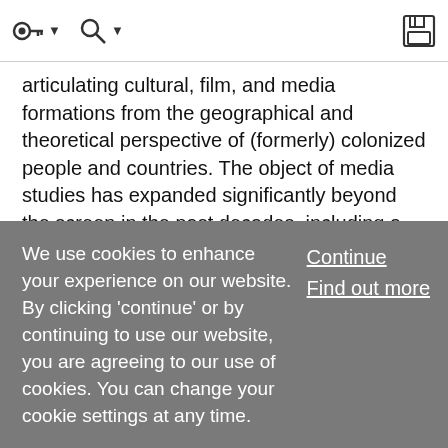[toolbar with navigation icons]
articulating cultural, film, and media formations from the geographical and theoretical perspective of (formerly) colonized people and countries. The object of media studies has expanded significantly beyond the screen in the past decades, including a renewed attention to non-visual media and an emerging attention to the material conditions of possibility for media representations. In this new mediascape, postcolonial theories and concepts potentially repoliticize media theory by questioning Western… … Show More
We use cookies to enhance your experience on our website. By clicking 'continue' or by continuing to use our website, you are agreeing to our use of cookies. You can change your cookie settings at any time.